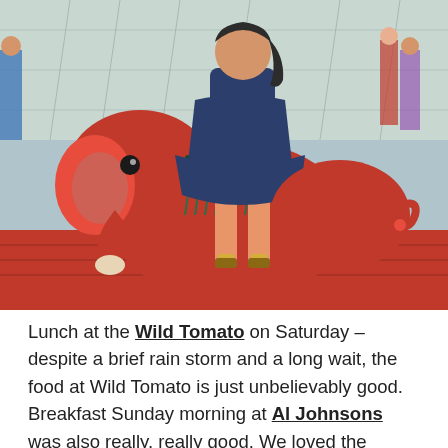[Figure (photo): A child in a dark denim dress riding a large red elephant-shaped playground/carousel ride. The ride is on a red wooden platform. In the background, other people are visible and a chain-link fence.]
Lunch at the Wild Tomato on Saturday – despite a brief rain storm and a long wait, the food at Wild Tomato is just unbelievably good. Breakfast Sunday morning at Al Johnsons was also really, really good. We loved the whole vibe – the grassy roof that goats